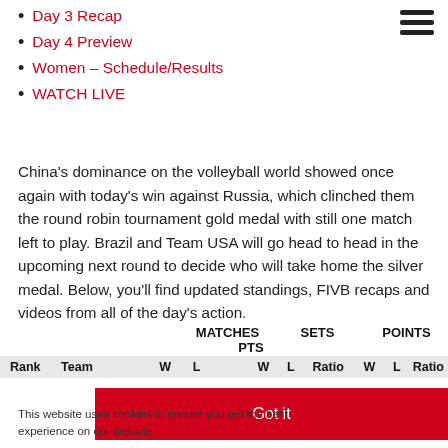Day 3 Recap
Day 4 Preview
Women – Schedule/Results
WATCH LIVE
China's dominance on the volleyball world showed once again with today's win against Russia, which clinched them the round robin tournament gold medal with still one match left to play. Brazil and Team USA will go head to head in the upcoming next round to decide who will take home the silver medal. Below, you'll find updated standings, FIVB recaps and videos from all of the day's action.
| Rank | Team | W | L | PTS | W | L | Ratio | W | L | Ratio |
| --- | --- | --- | --- | --- | --- | --- | --- | --- | --- | --- |
Got it
This website uses cookies to ensure you get the best experience on our website.